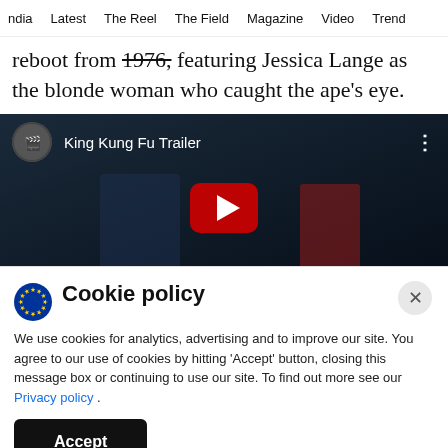ndia   Latest   The Reel   The Field   Magazine   Video   Trend
reboot from 1976, featuring Jessica Lange as the blonde woman who caught the ape's eye.
[Figure (screenshot): Embedded YouTube video player showing 'King Kung Fu Trailer' with a dark background, YouTube avatar, title text, three-dot menu, and a red play button in the center.]
Cookie policy
We use cookies for analytics, advertising and to improve our site. You agree to our use of cookies by hitting 'Accept' button, closing this message box or continuing to use our site. To find out more see our Privacy policy .

Accept